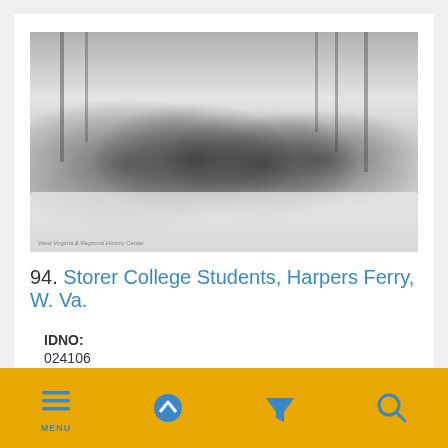[Figure (photo): Black and white photograph of four men in long overcoats standing in snow outside. Bare trees visible in background. Small text in lower left reads 'West Virginia & Regional History Center'.]
94. Storer College Students, Harpers Ferry, W. Va.
IDNO:
024106
Title: